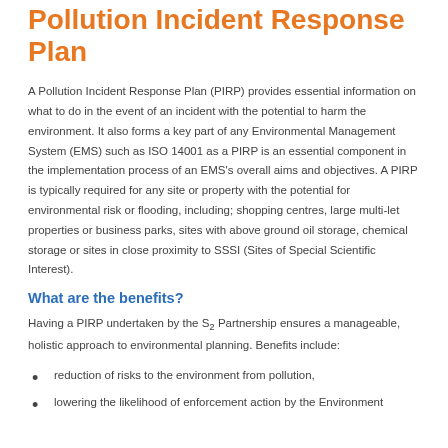Pollution Incident Response Plan
A Pollution Incident Response Plan (PIRP) provides essential information on what to do in the event of an incident with the potential to harm the environment. It also forms a key part of any Environmental Management System (EMS) such as ISO 14001 as a PIRP is an essential component in the implementation process of an EMS's overall aims and objectives. A PIRP is typically required for any site or property with the potential for environmental risk or flooding, including; shopping centres, large multi-let properties or business parks, sites with above ground oil storage, chemical storage or sites in close proximity to SSSI (Sites of Special Scientific Interest).
What are the benefits?
Having a PIRP undertaken by the S2 Partnership ensures a manageable, holistic approach to environmental planning. Benefits include:
reduction of risks to the environment from pollution,
lowering the likelihood of enforcement action by the Environment